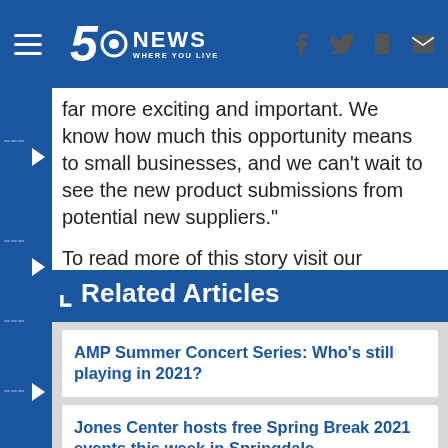5 News WHERE YOU LIVE
far more exciting and important. We know how much this opportunity means to small businesses, and we can't wait to see the new product submissions from potential new suppliers."
To read more of this story visit our partner in content, Talk Business & Politics.
Related Articles
AMP Summer Concert Series: Who's still playing in 2021?
Jones Center hosts free Spring Break 2021 events this week in Springdale
Walmart gives customers digital access to health records